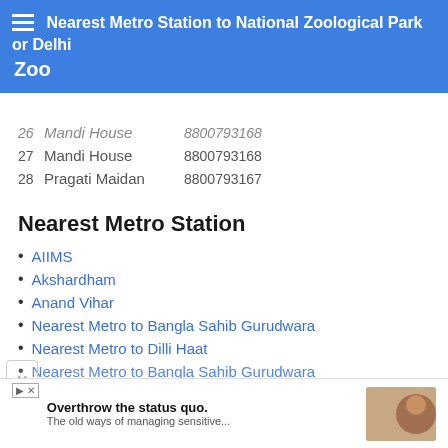Nearest Metro Station to National Zoological Park or Delhi Zoo
| # | Name | Phone |
| --- | --- | --- |
| 26 | Mandi House | 8800793168 |
| 27 | Mandi House | 8800793168 |
| 28 | Pragati Maidan | 8800793167 |
Nearest Metro Station
AIIMS
Akshardham
Anand Vihar
Nearest Metro to Bangla Sahib Gurudwara
Nearest Metro to Dilli Haat
Nearest Metro to Bangla Sahib Gurudwara
[Figure (other): Advertisement banner: Overthrow the status quo. The old ways of managing sensitive...]